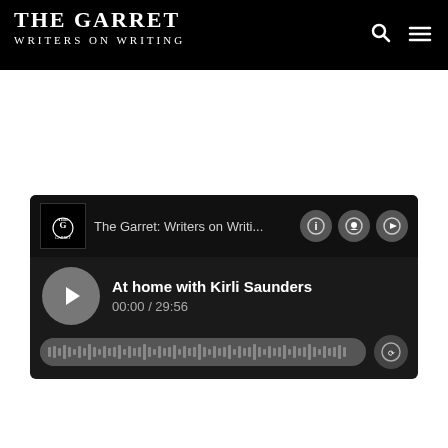THE GARRET
WRITERS ON WRITING
[Figure (screenshot): Podcast audio player widget showing 'The Garret: Writers on Writi...' with episode 'At home with Kirli Saunders', time 00:00 / 29:56, waveform progress bar, play button, and controls for info, podcast, and share.]